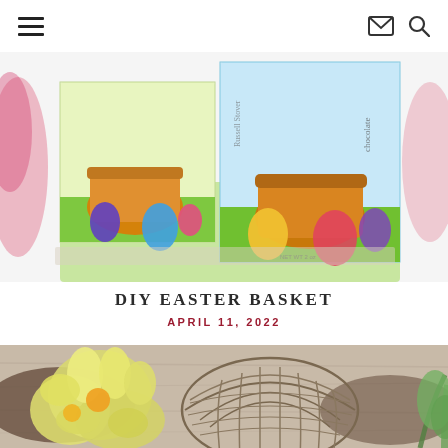Navigation header with hamburger menu, email icon, and search icon
[Figure (photo): Close-up photo of Russell Stover Easter chocolate candy boxes decorated with Easter baskets and colorful eggs, with pink and purple yarn visible in background, on white surface]
DIY EASTER BASKET
APRIL 11, 2022
[Figure (photo): Photo of yellow daffodil flowers and a woven wire/twig basket dome shape on a wooden table surface, with green plant visible at right edge, spring Easter decoration theme]